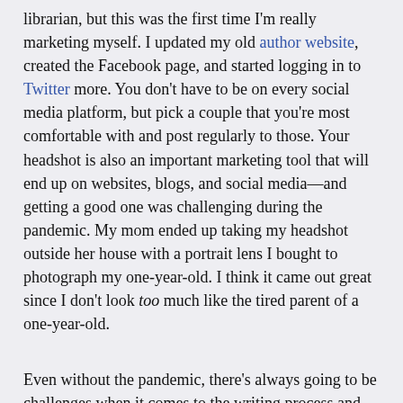librarian, but this was the first time I'm really marketing myself. I updated my old author website, created the Facebook page, and started logging in to Twitter more. You don't have to be on every social media platform, but pick a couple that you're most comfortable with and post regularly to those. Your headshot is also an important marketing tool that will end up on websites, blogs, and social media—and getting a good one was challenging during the pandemic. My mom ended up taking my headshot outside her house with a portrait lens I bought to photograph my one-year-old. I think it came out great since I don't look too much like the tired parent of a one-year-old.
Even without the pandemic, there's always going to be challenges when it comes to the writing process and contest process. I went through several rounds of edits with the publisher to get my manuscript as polished as possible, and often spent hours at night thinking about whether to keep, remove, or change individual words. But that's a good challenge that I know ultimately made my writing better. Overall, being a part of the IWSG anthology has been so fantastic and fun! Everyone I've met through this experience has been especially friendly and also well organized, keeping us moving forward as we get closer to our release date. Even though I'm doing a lot of new things, I never feel